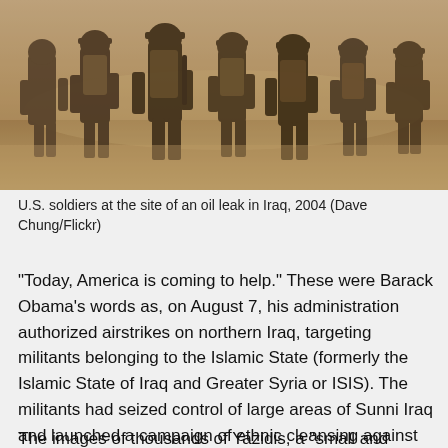[Figure (photo): Sepia-toned photograph of U.S. soldiers (seen from behind) walking in desert terrain in Iraq, 2004]
U.S. soldiers at the site of an oil leak in Iraq, 2004 (Dave Chung/Flickr)
“Today, America is coming to help.” These were Barack Obama’s words as, on August 7, his administration authorized airstrikes on northern Iraq, targeting militants belonging to the Islamic State (formerly the Islamic State of Iraq and Greater Syria or ISIS). The militants had seized control of large areas of Sunni Iraq and launched a campaign of ethnic cleansing against Iraq’s minority communities in the north, forcing the Christian community of Qaraqosh from their homes and expelling thousands of Yazidis from their villages.
The images of thousands of Yazidis, a “small and